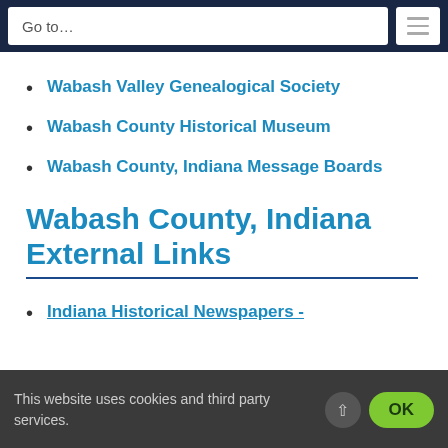Go to...
Wabash Valley Genealogical Society
Wabash County Historical Museum
Wabash County, Indiana Message Boards
Wabash County, Indiana External Links
Indiana Historical Newspapers -
This website uses cookies and third party services.